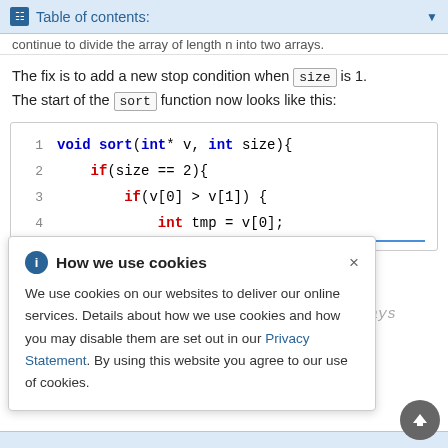Table of contents:
continue to divide the array of length n into two arrays.
The fix is to add a new stop condition when size is 1. The start of the sort function now looks like this:
[Figure (screenshot): Code block showing lines 1-4 of void sort(int* v, int size) function with if(size == 2), if(v[0] > v[1]), and int tmp = v[0];]
How we use cookies

We use cookies on our websites to deliver our online services. Details about how we use cookies and how you may disable them are set out in our Privacy Statement. By using this website you agree to our use of cookies.